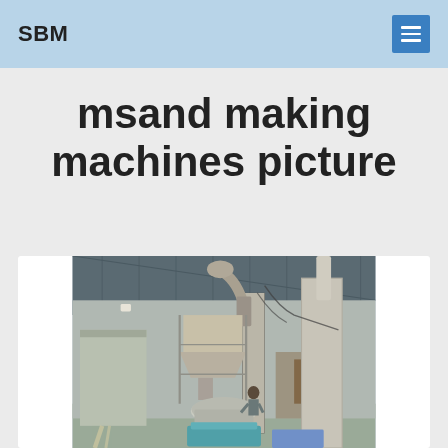SBM
msand making machines picture
[Figure (photo): Interior of an industrial facility showing sand making machines — large metal columns/pipes, hoppers, conveyor equipment, a worker, and various machinery on the factory floor under a metal roof structure.]